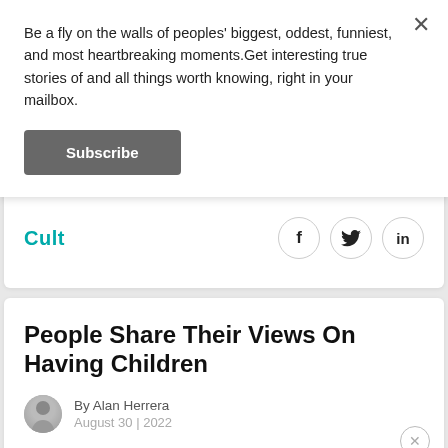Be a fly on the walls of peoples' biggest, oddest, funniest, and most heartbreaking moments.Get interesting true stories of and all things worth knowing, right in your mailbox.
Subscribe
Cult
[Figure (other): Social sharing icons: Facebook (f), Twitter (bird), LinkedIn (in) in circular borders]
People Share Their Views On Having Children
By Alan Herrera
August 30 | 2022